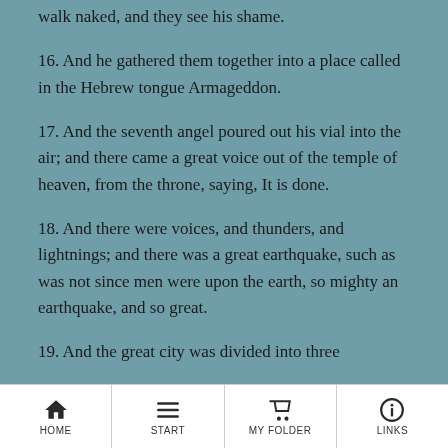walk naked, and they see his shame.
16. And he gathered them together into a place called in the Hebrew tongue Armageddon.
17. And the seventh angel poured out his vial into the air; and there came a great voice out of the temple of heaven, from the throne, saying, It is done.
18. And there were voices, and thunders, and lightnings; and there was a great earthquake, such as was not since men were upon the earth, so mighty an earthquake, and so great.
19. And the great city was divided into three
HOME  Start  My Folder  LINKS